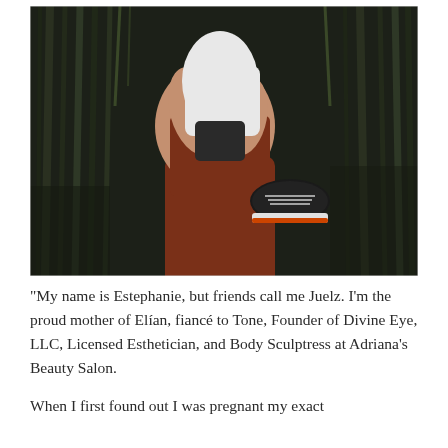[Figure (photo): A person in rust/terracotta knit pants and holding a small child dressed in white against a dark background of tall grasses. The child is wearing black sneakers.]
“My name is Estephanie, but friends call me Juelz. I’m the proud mother of Elían, fiancé to Tone, Founder of Divine Eye, LLC, Licensed Esthetician, and Body Sculptress at Adriana’s Beauty Salon.
When I first found out I was pregnant my exact